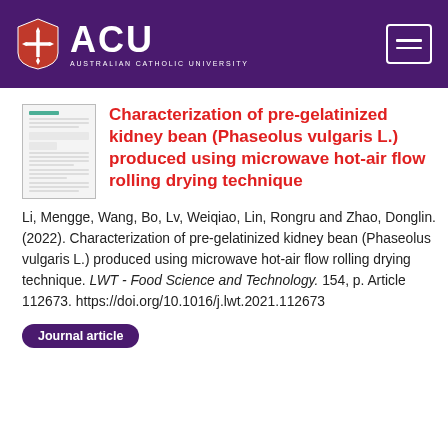ACU - Australian Catholic University
Characterization of pre-gelatinized kidney bean (Phaseolus vulgaris L.) produced using microwave hot-air flow rolling drying technique
Li, Mengge, Wang, Bo, Lv, Weiqiao, Lin, Rongru and Zhao, Donglin. (2022). Characterization of pre-gelatinized kidney bean (Phaseolus vulgaris L.) produced using microwave hot-air flow rolling drying technique. LWT - Food Science and Technology. 154, p. Article 112673. https://doi.org/10.1016/j.lwt.2021.112673
Journal article